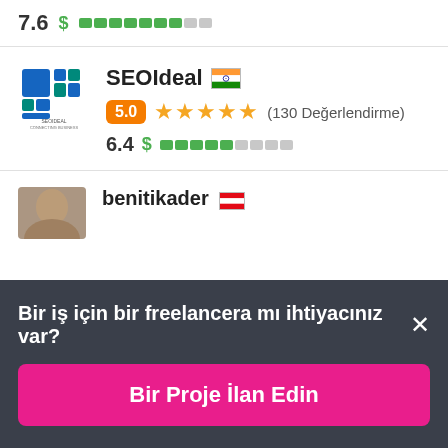7.6 $ ████████░░ (price bar)
[Figure (logo): SEOIdeal logo - blue and teal grid squares with text SEOIdeal]
SEOIdeal 🇮🇳
5.0 ★★★★★ (130 Değerlendirme)
6.4 $ ██████░░░░ (price bar)
[Figure (photo): Partial avatar photo of benitikader user]
benitikader 🇹🇷
Bir iş için bir freelancera mı ihtiyacınız var?  ×
Bir Proje İlan Edin